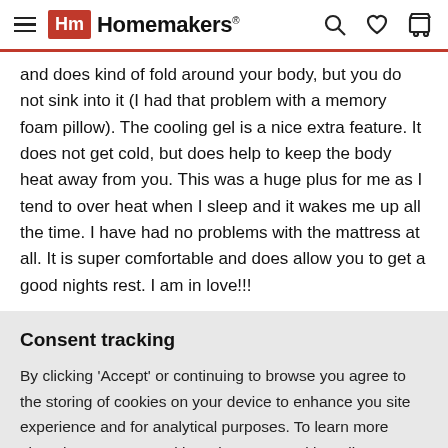Homemakers
and does kind of fold around your body, but you do not sink into it (I had that problem with a memory foam pillow). The cooling gel is a nice extra feature. It does not get cold, but does help to keep the body heat away from you. This was a huge plus for me as I tend to over heat when I sleep and it wakes me up all the time. I have had no problems with the mattress at all. It is super comfortable and does allow you to get a good nights rest. I am in love!!!
Consent tracking
By clicking 'Accept' or continuing to browse you agree to the storing of cookies on your device to enhance you site experience and for analytical purposes. To learn more about how we use cookies, view our Cookie Policy
ACCEPT